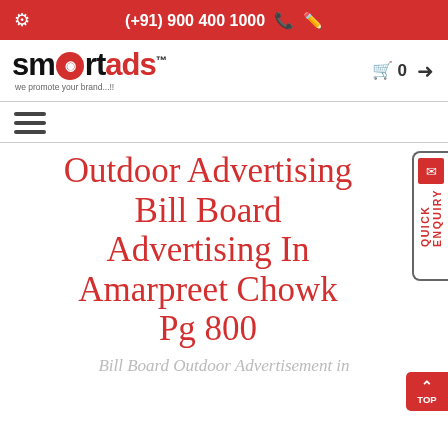(+91) 900 400 1000
[Figure (logo): Smartads logo with red circular film reel icon and tagline 'we promote your brand...!!']
Outdoor Advertising Bill Board Advertising In Amarpreet Chowk Pg 800
Bill Board Outdoor Advertisement in